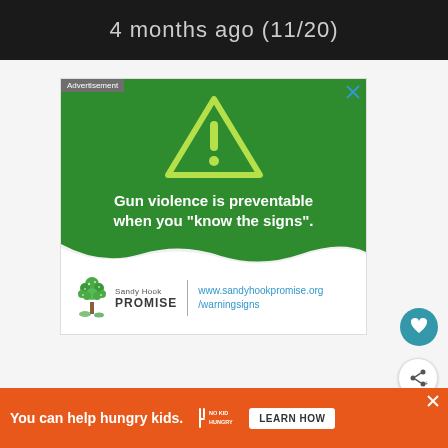4 months ago (11/20)
[Figure (screenshot): Sandy Hook Promise advertisement with green background, warning triangle icon, text 'Gun violence is preventable when you "know the signs".' and logo with URL www.sandyhookpromise.org/warningsigns]
[Figure (screenshot): No Kid Hungry advertisement banner: 'You can help hungry kids.' with Learn How button]